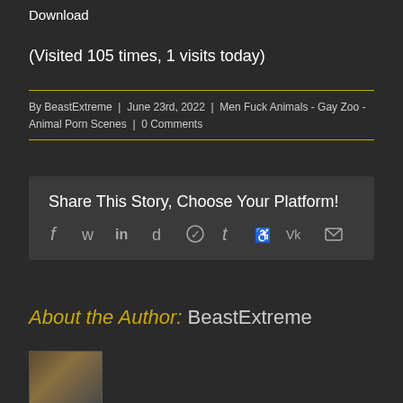Download
(Visited 105 times, 1 visits today)
By BeastExtreme | June 23rd, 2022 | Men Fuck Animals - Gay Zoo - Animal Porn Scenes | 0 Comments
Share This Story, Choose Your Platform!
About the Author: BeastExtreme
[Figure (photo): Author avatar thumbnail showing horses]